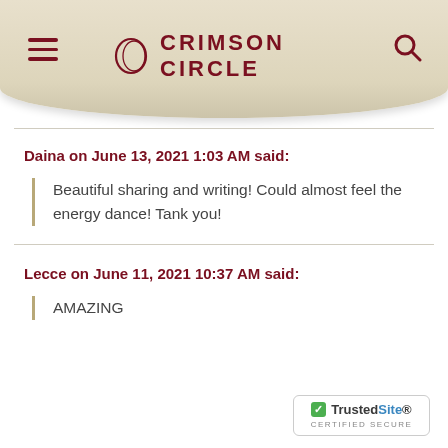CRIMSON CIRCLE
Daina on June 13, 2021 1:03 AM said:
Beautiful sharing and writing! Could almost feel the energy dance! Tank you!
Lecce on June 11, 2021 10:37 AM said:
AMAZING